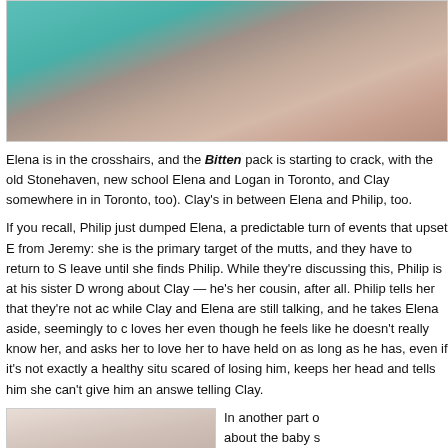[Figure (photo): Two people, a blonde woman in a teal/green dress and a man in a patterned shirt, in an embrace or close interaction]
Elena is in the crosshairs, and the Bitten pack is starting to crack, with the old Stonehaven, new school Elena and Logan in Toronto, and Clay somewhere in (in Toronto, too). Clay's in between Elena and Philip, too.
If you recall, Philip just dumped Elena, a predictable turn of events that upset E from Jeremy: she is the primary target of the mutts, and they have to return to S leave until she finds Philip. While they're discussing this, Philip is at his sister D wrong about Clay — he's her cousin, after all. Philip tells her that they're not ac while Clay and Elena are still talking, and he takes Elena aside, seemingly to c loves her even though he feels like he doesn't really know her, and asks her to love her to have held on as long as he has, even if it's not exactly a healthy situ scared of losing him, keeps her head and tells him she can't give him an answe telling Clay.
[Figure (photo): Two people in close conversation, a woman with dark hair up and a man with short dark hair]
In another part o about the baby s Santos knows. H cleaning up afte Karl comes in ...